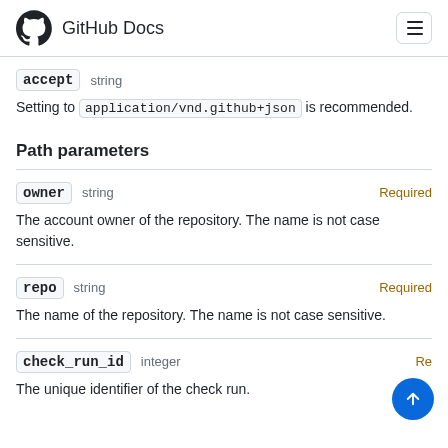GitHub Docs
accept   string
Setting to application/vnd.github+json is recommended.
Path parameters
owner   string   Required
The account owner of the repository. The name is not case sensitive.
repo   string   Required
The name of the repository. The name is not case sensitive.
check_run_id   integer   Required
The unique identifier of the check run.